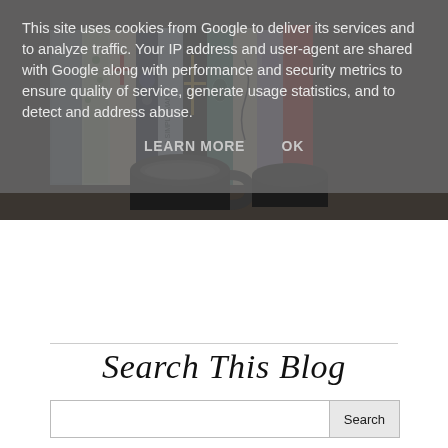This site uses cookies from Google to deliver its services and to analyze traffic. Your IP address and user-agent are shared with Google along with performance and security metrics to ensure quality of service, generate usage statistics, and to detect and address abuse.
LEARN MORE   OK
[Figure (photo): A row of colorful book spines on a shelf with a dark mug in the foreground]
Search This Blog
Search